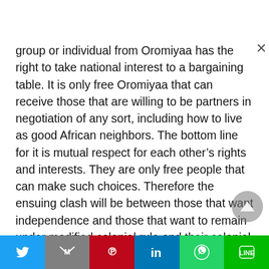group or individual from Oromiyaa has the right to take national interest to a bargaining table. It is only free Oromiyaa that can receive those that are willing to be partners in negotiation of any sort, including how to live as good African neighbors. The bottom line for it is mutual respect for each other's rights and interests. They are only free people that can make such choices. Therefore the ensuing clash will be between those that want independence and those that want to remain under modified colonial rule and their colonial allies,
[Figure (other): Social share bar at the bottom with Twitter, Gmail, Pinterest, LinkedIn, WhatsApp, and Line buttons]